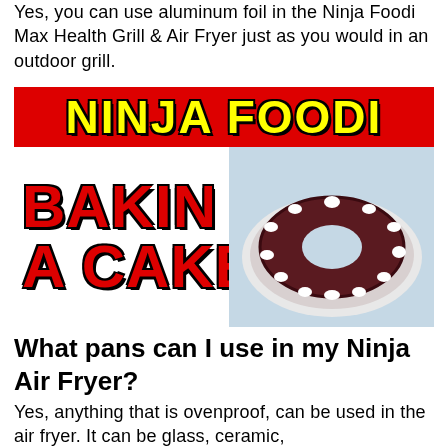Yes, you can use aluminum foil in the Ninja Foodi Max Health Grill & Air Fryer just as you would in an outdoor grill.
[Figure (screenshot): YouTube video thumbnail for 'Ninja Foodi Baking A Cake' — red banner at top with yellow text 'NINJA FOODI', below in red letters 'BAKING A CAKE' with a YouTube play button overlay, and a photo of a dark red bundt cake with white cream dollops on a plate.]
What pans can I use in my Ninja Air Fryer?
Yes, anything that is ovenproof, can be used in the air fryer. It can be glass, ceramic,